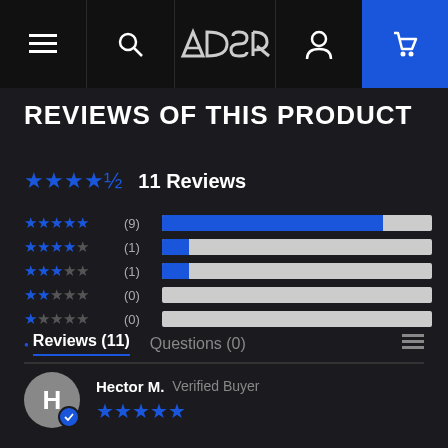ADSR navigation bar with hamburger, search, logo, account, and cart icons
REVIEWS OF THIS PRODUCT
[Figure (infographic): Star rating summary: 4.5 out of 5 stars, 11 Reviews. Rating breakdown bars: 5-star (9), 4-star (1), 3-star (1), 2-star (0), 1-star (0).]
Reviews (11)   Questions (0)
Hector M. Verified Buyer — 5 stars